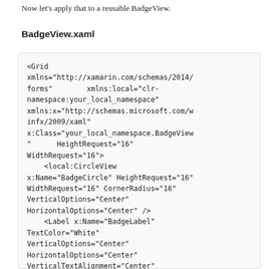Now let's apply that to a reusable BadgeView.
BadgeView.xaml
<Grid xmlns="http://xamarin.com/schemas/2014/forms"        xmlns:local="clr-namespace:your_local_namespace" xmlns:x="http://schemas.microsoft.com/winfx/2009/xaml" x:Class="your_local_namespace.BadgeView"      HeightRequest="16" WidthRequest="16">
    <local:CircleView x:Name="BadgeCircle" HeightRequest="16" WidthRequest="16" CornerRadius="16" VerticalOptions="Center" HorizontalOptions="Center" />
    <Label x:Name="BadgeLabel" TextColor="White" VerticalOptions="Center" HorizontalOptions="Center" VerticalTextAlignment="Center" HorizontalTextAlignment="Center"